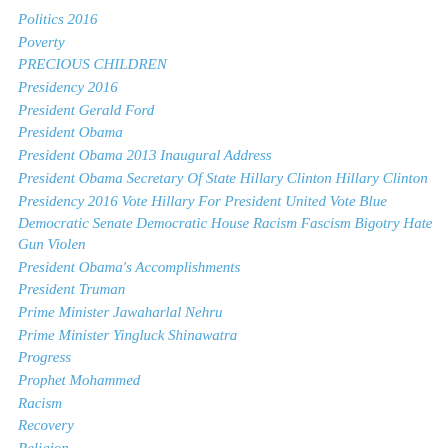Politics 2016
Poverty
PRECIOUS CHILDREN
Presidency 2016
President Gerald Ford
President Obama
President Obama 2013 Inaugural Address
President Obama Secretary Of State Hillary Clinton Hillary Clinton
Presidency 2016 Vote Hillary For President United Vote Blue
Democratic Senate Democratic House Racism Fascism Bigotry Hate Gun Violen
President Obama's Accomplishments
President Truman
Prime Minister Jawaharlal Nehru
Prime Minister Yingluck Shinawatra
Progress
Prophet Mohammed
Racism
Recovery
Religion